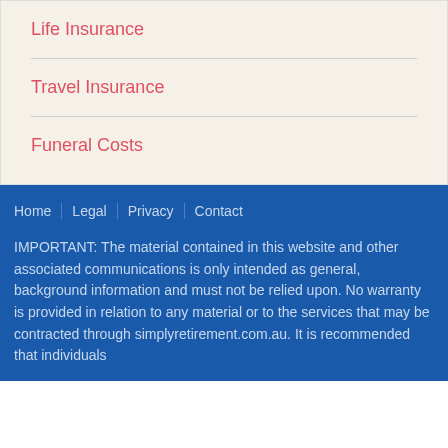Life Insurance
Travel Insurance
Funeral Costs
Home  Legal  Privacy  Contact
IMPORTANT: The material contained in this website and other associated communications is only intended as general, background information and must not be relied upon. No warranty is provided in relation to any material or to the services that may be contracted through simplyretirement.com.au. It is recommended that individuals